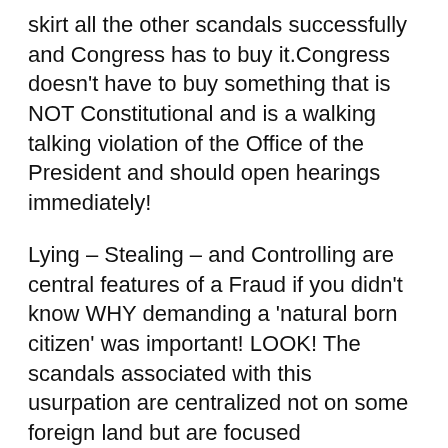skirt all the other scandals successfully and Congress has to buy it.Congress doesn't have to buy something that is NOT Constitutional and is a walking talking violation of the Office of the President and should open hearings immediately!
Lying – Stealing – and Controlling are central features of a Fraud if you didn't know WHY demanding a 'natural born citizen' was important! LOOK! The scandals associated with this usurpation are centralized not on some foreign land but are focused domestically are considered to be terrorizing Americans.
Obama undoubtedly has been involved in stealing the election by representing himself as qualified and actually defrauding all of the